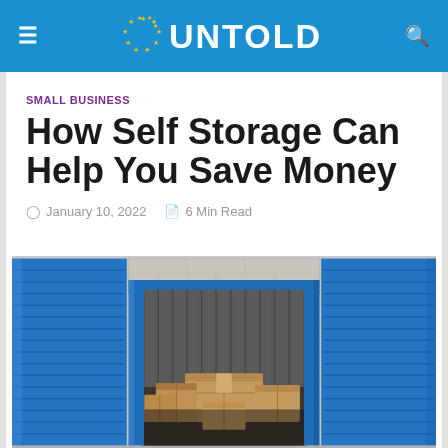UNTOLD
SMALL BUSINESS
How Self Storage Can Help You Save Money
January 10, 2022  6 Min Read
[Figure (photo): Self storage facility with open blue roll-up door showing cardboard boxes inside, flanked by two closed blue doors, with white/grey brick exterior walls.]